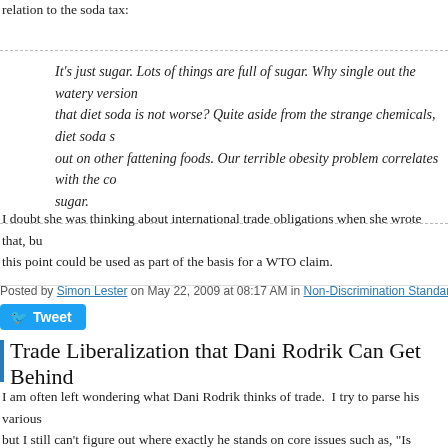relation to the soda tax:
It's just sugar. Lots of things are full of sugar. Why single out the watery version that diet soda is not worse? Quite aside from the strange chemicals, diet soda s out on other fattening foods. Our terrible obesity problem correlates with the co sugar.
I doubt she was thinking about international trade obligations when she wrote that, but this point could be used as part of the basis for a WTO claim.
Posted by Simon Lester on May 22, 2009 at 08:17 AM in Non-Discrimination Standards | Permalink | Comment
Tweet
Trade Liberalization that Dani Rodrik Can Get Behind
I am often left wondering what Dani Rodrik thinks of trade. I try to parse his various but I still can't figure out where exactly he stands on core issues such as, "Is protection answer would be, sometimes yes and sometimes no. But the specifics of his views on
So, I was excited to read that Rodrik does support at least some forms of trade liberali